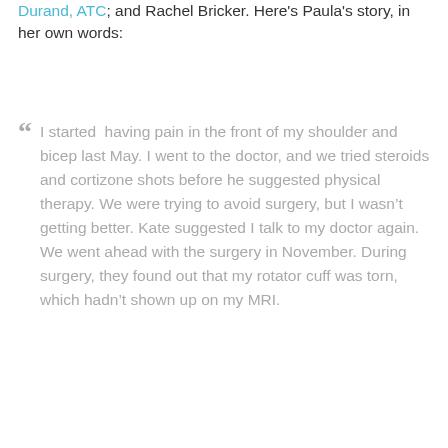Durand, ATC; and Rachel Bricker. Here's Paula's story, in her own words:
“ I started having pain in the front of my shoulder and bicep last May. I went to the doctor, and we tried steroids and cortizone shots before he suggested physical therapy. We were trying to avoid surgery, but I wasn’t getting better. Kate suggested I talk to my doctor again. We went ahead with the surgery in November. During surgery, they found out that my rotator cuff was torn, which hadn’t shown up on my MRI.